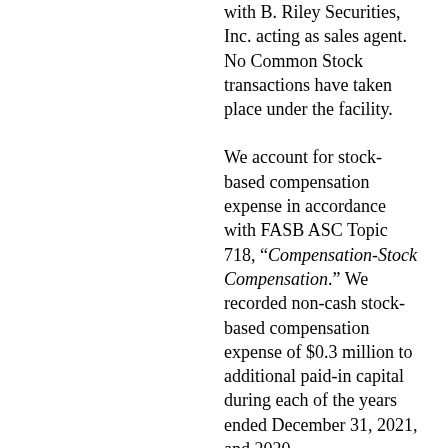with B. Riley Securities, Inc. acting as sales agent. No Common Stock transactions have taken place under the facility.
We account for stock-based compensation expense in accordance with FASB ASC Topic 718, “Compensation-Stock Compensation.” We recorded non-cash stock-based compensation expense of $0.3 million to additional paid-in capital during each of the years ended December 31, 2021, and 2020.
Our dividend policy is based upon our Board of Directors’ current assessment of our business and the